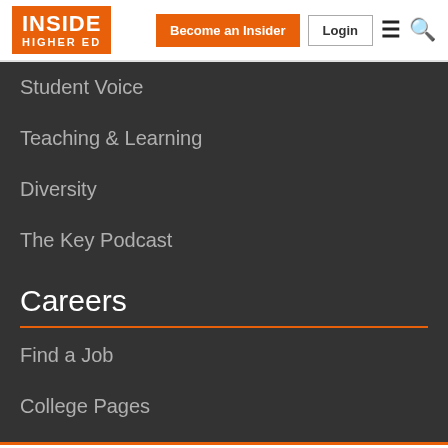INSIDE HIGHER ED | Become an Insider | Login
Student Voice
Teaching & Learning
Diversity
The Key Podcast
Careers
Find a Job
College Pages
4 of 5 articles left this month. Sign up for a free account or Log in.